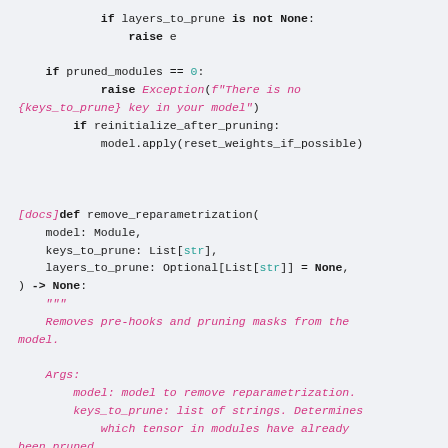Code snippet showing Python pruning utility functions including raise e, pruned_modules check, reinitialize_after_pruning, and remove_reparametrization function definition with docstring.